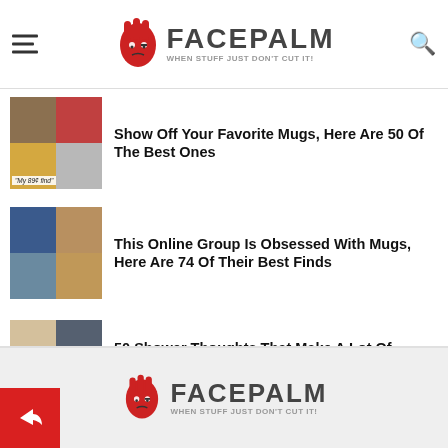FACEPALM — WHEN STUFF JUST DON'T CUT IT!
Show Off Your Favorite Mugs, Here Are 50 Of The Best Ones
This Online Group Is Obsessed With Mugs, Here Are 74 Of Their Best Finds
50 Shower Thoughts That Make A Lot Of Sense, As Shared On This Online Page (New Pics) Interview
[Figure (logo): Facepalm logo — red cartoon hand with face, text FACEPALM, tagline WHEN STUFF JUST DON'T CUT IT!]
FACEPALM — WHEN STUFF JUST DON'T CUT IT! (footer logo repeat)